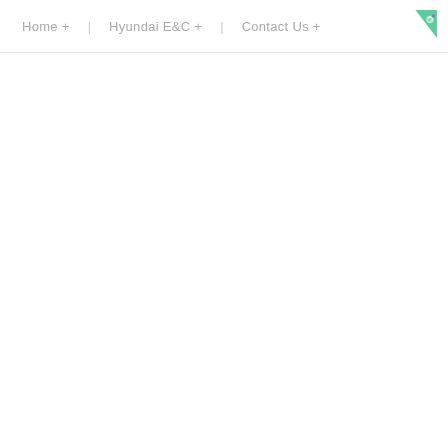Home + | Hyundai E&C + | Contact Us +
[Figure (illustration): Green triangle decoration in top-right corner with a small circular icon overlay]